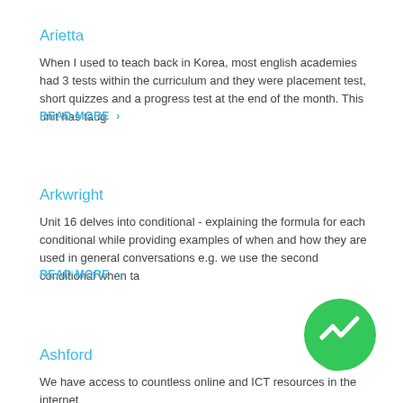Arietta
When I used to teach back in Korea, most english academies had 3 tests within the curriculum and they were placement test, short quizzes and a progress test at the end of the month. This unit has taug
READ MORE ›
Arkwright
Unit 16 delves into conditional - explaining the formula for each conditional while providing examples of when and how they are used in general conversations e.g. we use the second conditional when ta
READ MORE ›
[Figure (logo): Green circular Messenger app icon with white lightning bolt/chat symbol]
Ashford
We have access to countless online and ICT resources in the internet